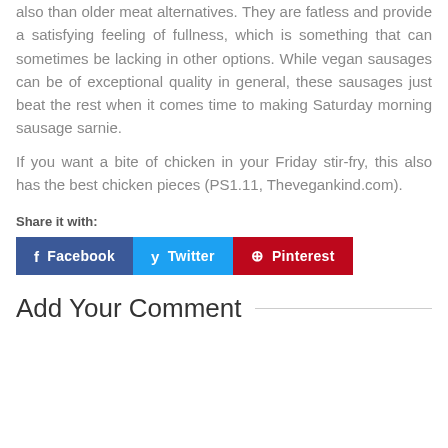also than older meat alternatives. They are fatless and provide a satisfying feeling of fullness, which is something that can sometimes be lacking in other options. While vegan sausages can be of exceptional quality in general, these sausages just beat the rest when it comes time to making Saturday morning sausage sarnie.
If you want a bite of chicken in your Friday stir-fry, this also has the best chicken pieces (PS1.11, Thevegankind.com).
Share it with:
[Figure (infographic): Social share buttons: Facebook (blue), Twitter (light blue), Pinterest (red)]
Add Your Comment